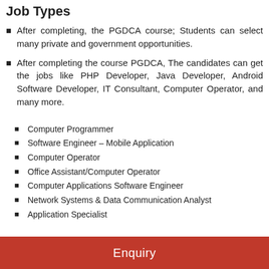Job Types
After completing, the PGDCA course; Students can select many private and government opportunities.
After completing the course PGDCA, The candidates can get the jobs like PHP Developer, Java Developer, Android Software Developer, IT Consultant, Computer Operator, and many more.
Computer Programmer
Software Engineer – Mobile Application
Computer Operator
Office Assistant/Computer Operator
Computer Applications Software Engineer
Network Systems & Data Communication Analyst
Application Specialist
Enquiry